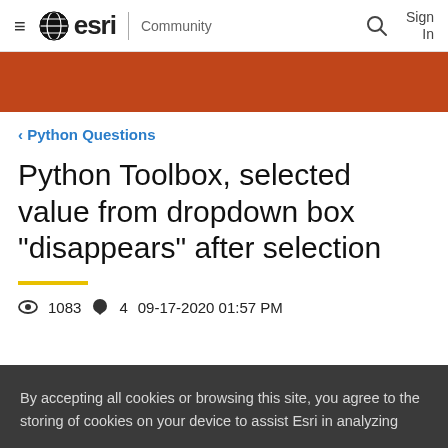esri Community | Sign In
[Figure (other): Orange banner/hero bar]
‹ Python Questions
Python Toolbox, selected value from dropdown box "disappears" after selection
1083  4  09-17-2020 01:57 PM
By accepting all cookies or browsing this site, you agree to the storing of cookies on your device to assist Esri in analyzing